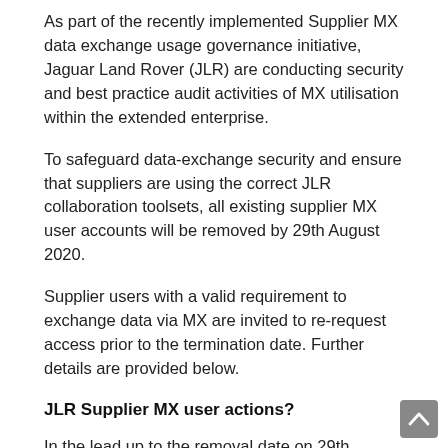As part of the recently implemented Supplier MX data exchange usage governance initiative, Jaguar Land Rover (JLR) are conducting security and best practice audit activities of MX utilisation within the extended enterprise.
To safeguard data-exchange security and ensure that suppliers are using the correct JLR collaboration toolsets, all existing supplier MX user accounts will be removed by 29th August 2020.
Supplier users with a valid requirement to exchange data via MX are invited to re-request access prior to the termination date. Further details are provided below.
JLR Supplier MX user actions?
In the lead up to the removal date on 29th August, any existing supplier MX user that requires an account must re-request access. This can be done either through their JLR sponsor via the JLR internal MX request form or if